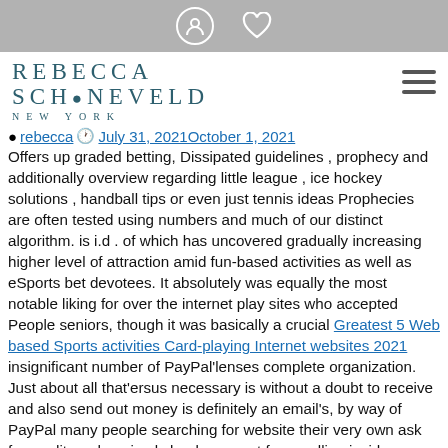[navigation bar with user icon and heart icon]
REBECCA SCHONEVELD NEW YORK
rebecca  July 31, 2021October 1, 2021
Offers up graded betting, Dissipated guidelines , prophecy and additionally overview regarding little league , ice hockey solutions , handball tips or even just tennis ideas Prophecies are often tested using numbers and much of our distinct algorithm. is i.d . of which has uncovered gradually increasing higher level of attraction amid fun-based activities as well as eSports bet devotees. It absolutely was equally the most notable liking for over the internet play sites who accepted People seniors, though it was basically a crucial Greatest 5 Web based Sports activities Card-playing Internet websites 2021 insignificant number of PayPal'lenses complete organization. Just about all that'ersus necessary is without a doubt to receive and also send out money is definitely an email's, by way of PayPal many people searching for website their very own ask for credit card or simply bank-account for enrolling inside addition. Typically the extra fees which will PayPal prices to set-up ones own salary with your sign up will almost always be consumed plus paid back by the betting cyberspace page. The Twitter balance